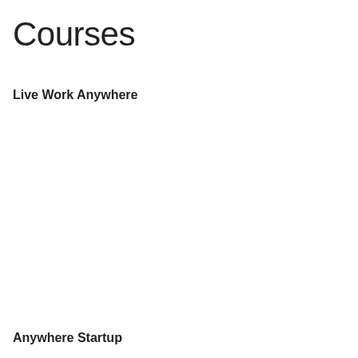Courses
Live Work Anywhere
Anywhere Startup